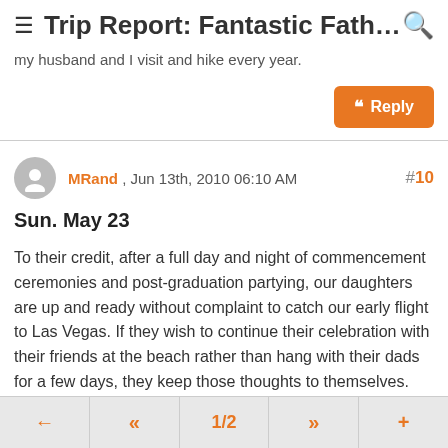Trip Report: Fantastic Father-Da...
my husband and I visit and hike every year.
Reply
MRand , Jun 13th, 2010 06:10 AM #10
Sun. May 23
To their credit, after a full day and night of commencement ceremonies and post-graduation partying, our daughters are up and ready without complaint to catch our early flight to Las Vegas. If they wish to continue their celebration with their friends at the beach rather than hang with their dads for a few days, they keep those thoughts to themselves. The four of us land at McCarran, pick up our Budget Rent-a-Car, and eagerly head straight to Springdale (Utah) and Zion.
← « 1/2 » +